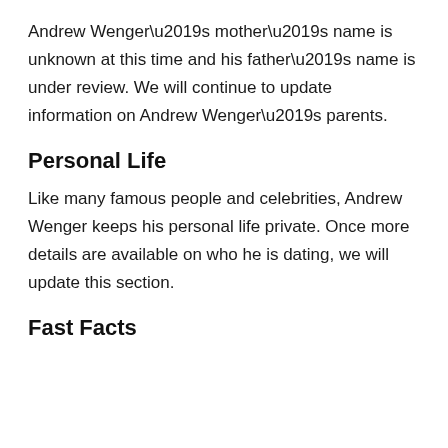Andrew Wenger’s mother’s name is unknown at this time and his father’s name is under review. We will continue to update information on Andrew Wenger’s parents.
Personal Life
Like many famous people and celebrities, Andrew Wenger keeps his personal life private. Once more details are available on who he is dating, we will update this section.
Fast Facts